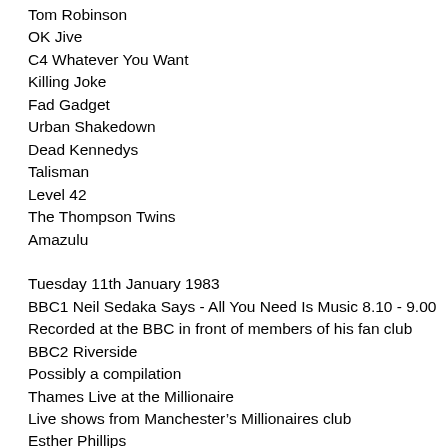Tom Robinson
OK Jive
C4 Whatever You Want
Killing Joke
Fad Gadget
Urban Shakedown
Dead Kennedys
Talisman
Level 42
The Thompson Twins
Amazulu
Tuesday 11th January 1983
BBC1 Neil Sedaka Says - All You Need Is Music 8.10 - 9.00
Recorded at the BBC in front of members of his fan club
BBC2 Riverside
Possibly a compilation
Thames Live at the Millionaire
Live shows from Manchester’s Millionaires club
Esther Phillips
Wednesday 12th January 1983
BBC1 Barbara Mandrell
Marty Robbins
BBC2 Duke Ellington 75 minute documentary
Thursday, a Night Out 8.00 - 9.00